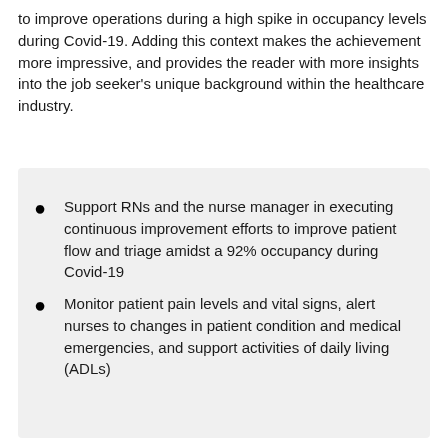to improve operations during a high spike in occupancy levels during Covid-19. Adding this context makes the achievement more impressive, and provides the reader with more insights into the job seeker's unique background within the healthcare industry.
Support RNs and the nurse manager in executing continuous improvement efforts to improve patient flow and triage amidst a 92% occupancy during Covid-19
Monitor patient pain levels and vital signs, alert nurses to changes in patient condition and medical emergencies, and support activities of daily living (ADLs)